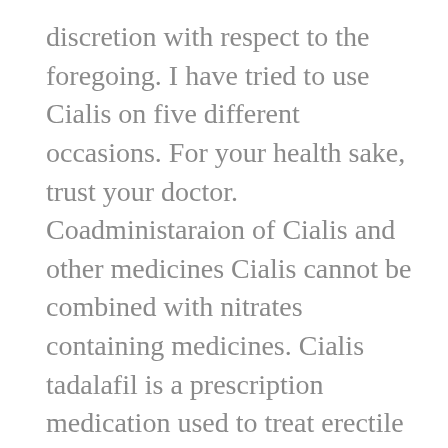discretion with respect to the foregoing. I have tried to use Cialis on five different occasions. For your health sake, trust your doctor. Coadministaraion of Cialis and other medicines Cialis cannot be combined with nitrates containing medicines. Cialis tadalafil is a prescription medication used to treat erectile dysfunction. Levy, RPh. At least that is what professionals recommend. Such conditions require medical care, because they lead to malnutrition of the cavernous bodies of the penis and death of its cells.